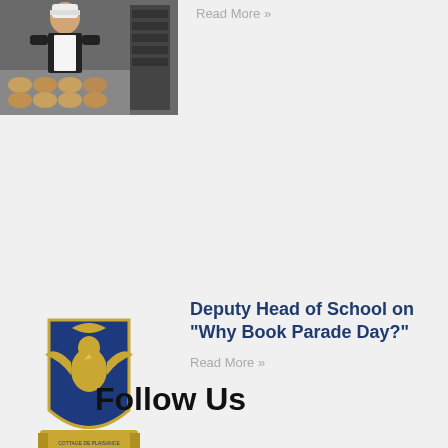[Figure (photo): Thumbnail photo of a chef/cook in an apron with baked goods in the background]
Read More »
[Figure (logo): School crest/coat of arms with an eagle, shield, blue and gold colors, and a banner at the bottom]
Deputy Head of School on “Why Book Parade Day?”
Read More »
Follow Us